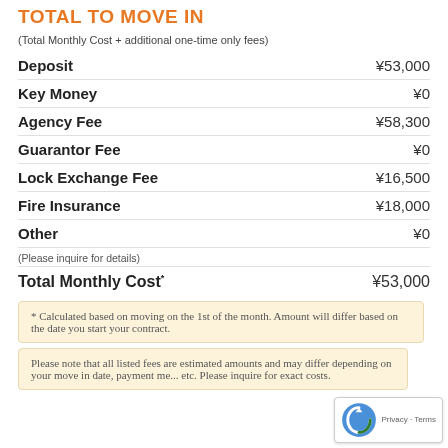TOTAL TO MOVE IN
(Total Monthly Cost + additional one-time only fees)
| Fee | Amount |
| --- | --- |
| Deposit | ¥53,000 |
| Key Money | ¥0 |
| Agency Fee | ¥58,300 |
| Guarantor Fee | ¥0 |
| Lock Exchange Fee | ¥16,500 |
| Fire Insurance | ¥18,000 |
| Other | ¥0 |
| Total Monthly Cost* | ¥53,000 |
(Please inquire for details)
* Calculated based on moving on the 1st of the month. Amount will differ based on the date you start your contract.
Please note that all listed fees are estimated amounts and may differ depending on your move in date, payment method, etc. Please inquire for exact costs.